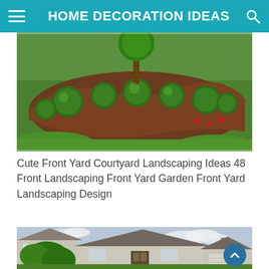HOME DECORATION IDEAS
[Figure (photo): Front yard landscaping photo showing curved garden bed with trimmed round bushes, mulch, and bright green grass lawn.]
Cute Front Yard Courtyard Landscaping Ideas 48 Front Landscaping Front Yard Garden Front Yard Landscaping Design
[Figure (photo): Photo of a suburban house with tan/grey siding, dark roof shingles, lush green trees in front, and partly cloudy sky.]